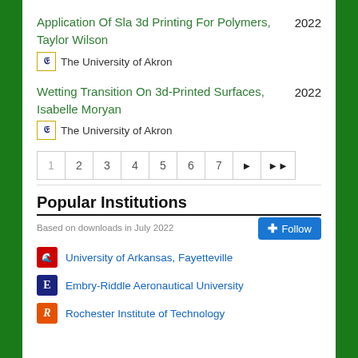Application Of Sla 3d Printing For Polymers, Taylor Wilson
The University of Akron
2022
Wetting Transition On 3d-Printed Surfaces, Isabelle Moryan
The University of Akron
2022
1 2 3 4 5 6 7 ► >>
Popular Institutions
Based on downloads in July 2022
University of Arkansas, Fayetteville
Embry-Riddle Aeronautical University
Rochester Institute of Technology